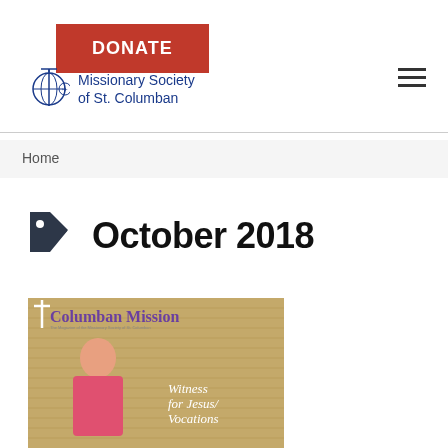[Figure (logo): Red DONATE button in header]
[Figure (logo): Missionary Society of St. Columban logo with globe and cross icon]
[Figure (other): Hamburger menu icon (three horizontal lines) in top right]
Home
October 2018
[Figure (photo): Cover of Columban Mission magazine showing a priest in pink vestments with text 'Witness for Jesus/ Vocations']